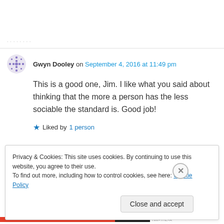· · ·
Gwyn Dooley on September 4, 2016 at 11:49 pm
This is a good one, Jim. I like what you said about thinking that the more a person has the less sociable the standard is. Good job!
★ Liked by 1 person
Privacy & Cookies: This site uses cookies. By continuing to use this website, you agree to their use.
To find out more, including how to control cookies, see here: Cookie Policy
Close and accept